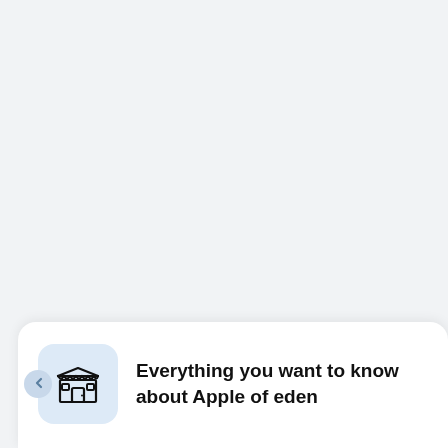[Figure (illustration): A card UI element at the bottom of the screen featuring a store/shop icon (market stall with awning) in a light blue rounded square background, with a small chevron/arrow circle on the left side.]
Everything you want to know about Apple of eden